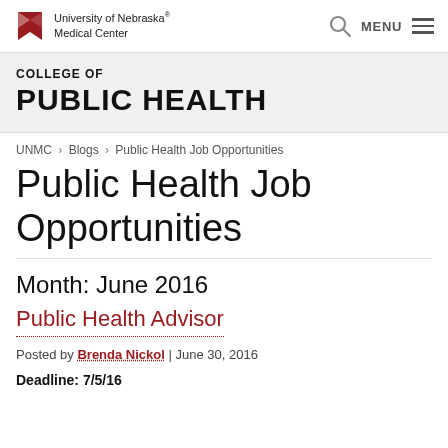University of Nebraska Medical Center | MENU
COLLEGE OF PUBLIC HEALTH
UNMC › Blogs › Public Health Job Opportunities
Public Health Job Opportunities
Month: June 2016
Public Health Advisor
Posted by Brenda Nickol | June 30, 2016
Deadline: 7/5/16